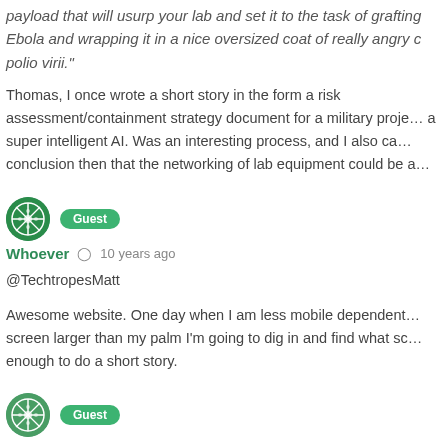payload that will usurp your lab and set it to the task of grafting Ebola and wrapping it in a nice oversized coat of really angry c… polio virii."
Thomas, I once wrote a short story in the form a risk assessment/containment strategy document for a military proje… a super intelligent AI. Was an interesting process, and I also ca… conclusion then that the networking of lab equipment could be a…
Guest Whoever  10 years ago
@TechtropesMatt
Awesome website. One day when I am less mobile dependent… screen larger than my palm I'm going to dig in and find what sc… enough to do a short story.
Guest